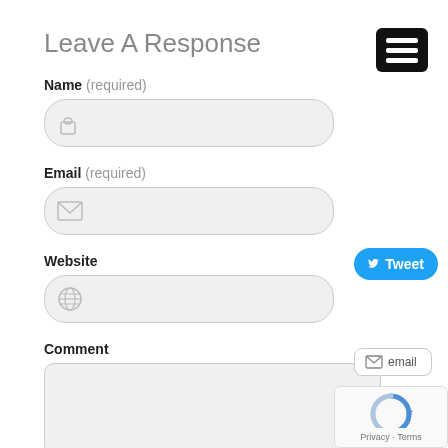Leave A Response
Name (required)
[Figure (screenshot): Text input field with person/lock icon, rounded rectangle, light gray background]
Email (required)
[Figure (screenshot): Text input field with envelope/email icon, rounded rectangle, light gray background]
Website
[Figure (screenshot): Text input field with globe/web icon, rounded rectangle, light gray background]
Comment
[Figure (screenshot): Comment textarea, large rectangle, light gray background]
[Figure (screenshot): Hamburger menu icon, black rounded rectangle with three white bars, top right corner]
[Figure (screenshot): Tweet button, blue rounded rectangle with Twitter bird icon and Tweet label]
[Figure (screenshot): Email sharing button, white rectangle with envelope icon and email label]
[Figure (screenshot): Google reCAPTCHA widget with Privacy and Terms text]